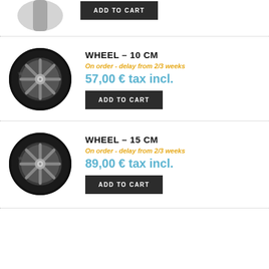[Figure (photo): Partial view of a product image (wheel/cylinder) at the top]
ADD TO CART
[Figure (photo): Wheel - 10 cm product photo showing a dark spoked wheel]
WHEEL – 10 CM
On order - delay from 2/3 weeks
57,00 € tax incl.
ADD TO CART
[Figure (photo): Wheel - 15 cm product photo showing a dark spoked wheel]
WHEEL – 15 CM
On order - delay from 2/3 weeks
89,00 € tax incl.
ADD TO CART